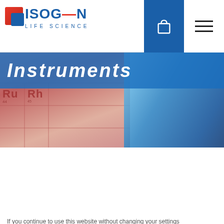[Figure (logo): Isogen Life Science logo with red and blue squares and text]
[Figure (illustration): Website header banner showing periodic table elements (Ru, Rh) on left with red tones and blue liquid/vials on right]
Instruments
Home > Products > Instruments > Next Generation iCIEF > CEInfinite iCIEF Instruments
Isogen Life Science uses cookies
If you continue to use this website without changing your settings